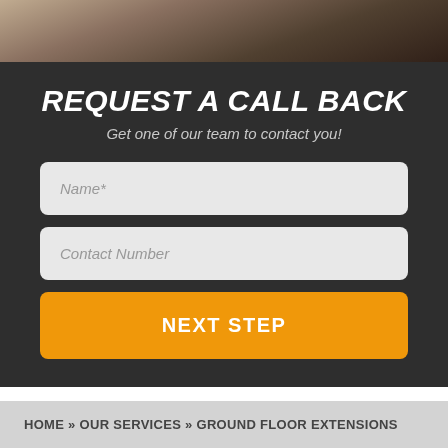[Figure (photo): Partial photo strip at top showing people working on a floor/documents, dark-toned]
REQUEST A CALL BACK
Get one of our team to contact you!
Name*
Contact Number
NEXT STEP
HOME » OUR SERVICES » GROUND FLOOR EXTENSIONS